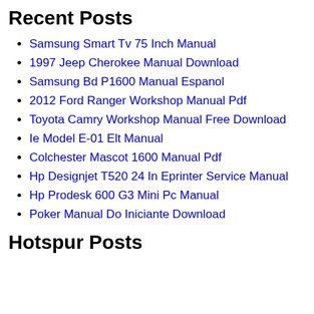Recent Posts
Samsung Smart Tv 75 Inch Manual
1997 Jeep Cherokee Manual Download
Samsung Bd P1600 Manual Espanol
2012 Ford Ranger Workshop Manual Pdf
Toyota Camry Workshop Manual Free Download
Ie Model E-01 Elt Manual
Colchester Mascot 1600 Manual Pdf
Hp Designjet T520 24 In Eprinter Service Manual
Hp Prodesk 600 G3 Mini Pc Manual
Poker Manual Do Iniciante Download
Hotspur Posts